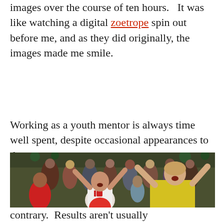images over the course of ten hours.   It was like watching a digital zoetrope spin out before me, and as they did originally, the images made me smile.
Working as a youth mentor is always time well spent, despite occasional appearances to the
[Figure (photo): A crowd of youth at an event; in the foreground a girl in a white 'I love AG' shirt with arms raised, and a woman in a yellow shirt with arms raised, both cheering. Many children in the background in a large indoor venue.]
contrary.  Results aren't usually